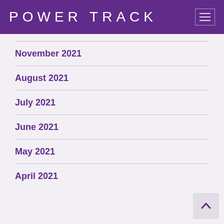POWER TRACK
November 2021
August 2021
July 2021
June 2021
May 2021
April 2021